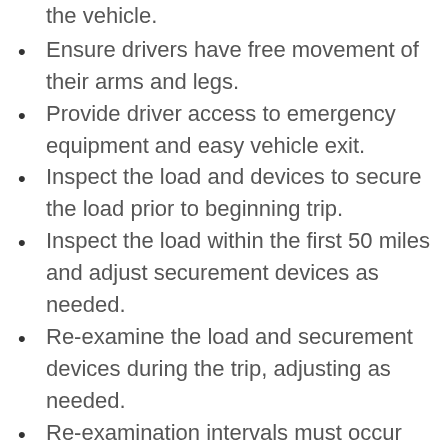the vehicle.
Ensure drivers have free movement of their arms and legs.
Provide driver access to emergency equipment and easy vehicle exit.
Inspect the load and devices to secure the load prior to beginning trip.
Inspect the load within the first 50 miles and adjust securement devices as needed.
Re-examine the load and securement devices during the trip, adjusting as needed.
Re-examination intervals must occur whenever a change-of-duty status occurs and when the vehicle has been in operation more than three hours or driven 150 miles (whichever occurs first).